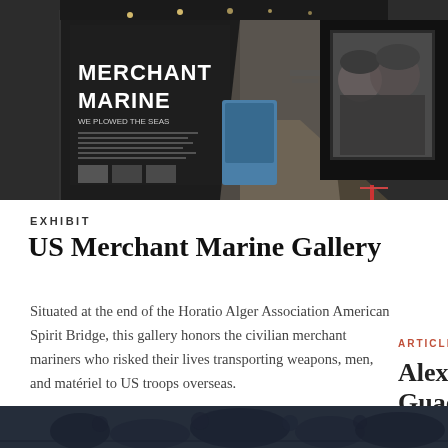[Figure (photo): Interior of the US Merchant Marine museum gallery exhibit showing large wall murals with 'MERCHANT MARINE' text, display cases with blue panels, large projected photo of soldiers/mariners on the right wall, and dark ceiling with industrial lighting.]
EXHIBIT
US Merchant Marine Gallery
Situated at the end of the Horatio Alger Association American Spirit Bridge, this gallery honors the civilian merchant mariners who risked their lives transporting weapons, men, and matériel to US troops overseas.
ARTICLE
Alexander Guadal
Alexander during Wo
[Figure (photo): Dark monochrome photo strip at the bottom showing silhouettes of people/soldiers.]